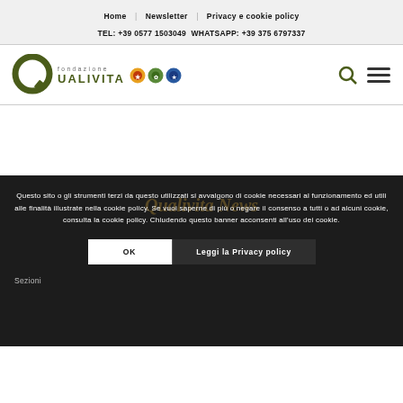Home | Newsletter | Privacy e cookie policy
TEL: +39 0577 1503049  WHATSAPP: +39 375 6797337
[Figure (logo): Fondazione Qualivita logo with green Q letter and colored certification circles (orange, blue, yellow)]
Questo sito o gli strumenti terzi da questo utilizzati si avvalgono di cookie necessari al funzionamento ed utili alle finalità illustrate nella cookie policy. Se vuoi saperne di più o negare il consenso a tutti o ad alcuni cookie, consulta la cookie policy. Chiudendo questo banner acconsenti all'uso dei cookie.
OK
Leggi la Privacy policy
Sezioni